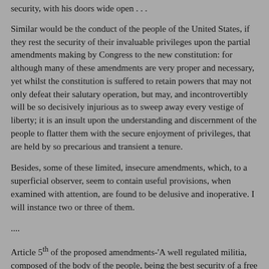security, with his doors wide open . . .
Similar would be the conduct of the people of the United States, if they rest the security of their invaluable privileges upon the partial amendments making by Congress to the new constitution: for although many of these amendments are very proper and necessary, yet whilst the constitution is suffered to retain powers that may not only defeat their salutary operation, but may, and incontrovertibly will be so decisively injurious as to sweep away every vestige of liberty; it is an insult upon the understanding and discernment of the people to flatter them with the secure enjoyment of privileges, that are held by so precarious and transient a tenure.
Besides, some of these limited, insecure amendments, which, to a superficial observer, seem to contain useful provisions, when examined with attention, are found to be delusive and inoperative. I will instance two or three of them.
....
Article 5th of the proposed amendments-'A well regulated militia, composed of the body of the people, being the best security of a free state, the right of the people to keep and bear arms, shall not be infringed, &c.' It is remarkable that this article only makes the observation with a well regulated militia, composed of the body of the people,